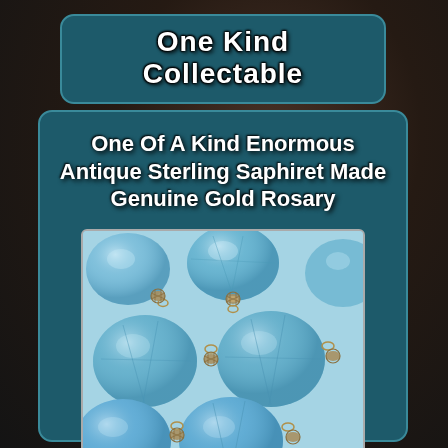One Kind Collectable
One Of A Kind Enormous Antique Sterling Saphiret Made Genuine Gold Rosary
[Figure (photo): Close-up photograph of large faceted blue/teal crystal rosary beads with antique gold/silver metal connectors and flower-shaped caps strung together]